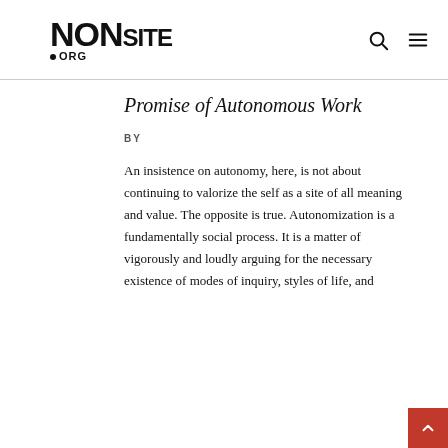NONSITE.ORG
Promise of Autonomous Work
BY
An insistence on autonomy, here, is not about continuing to valorize the self as a site of all meaning and value. The opposite is true. Autonomization is a fundamentally social process. It is a matter of vigorously and loudly arguing for the necessary existence of modes of inquiry, styles of life, and